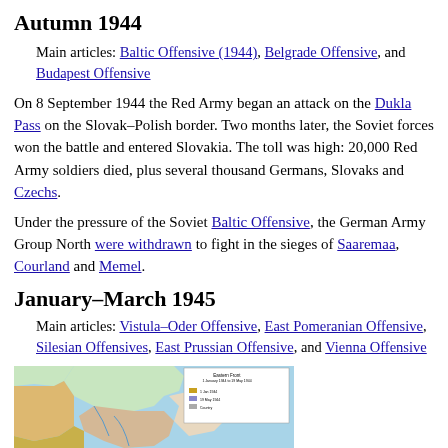Autumn 1944
Main articles: Baltic Offensive (1944), Belgrade Offensive, and Budapest Offensive
On 8 September 1944 the Red Army began an attack on the Dukla Pass on the Slovak–Polish border. Two months later, the Soviet forces won the battle and entered Slovakia. The toll was high: 20,000 Red Army soldiers died, plus several thousand Germans, Slovaks and Czechs.
Under the pressure of the Soviet Baltic Offensive, the German Army Group North were withdrawn to fight in the sieges of Saaremaa, Courland and Memel.
January–March 1945
Main articles: Vistula–Oder Offensive, East Pomeranian Offensive, Silesian Offensives, East Prussian Offensive, and Vienna Offensive
[Figure (map): Map of Eastern Front 1 January 1944 to 19 May 1944 showing Baltic region, Poland, and surrounding territories with military positions marked.]